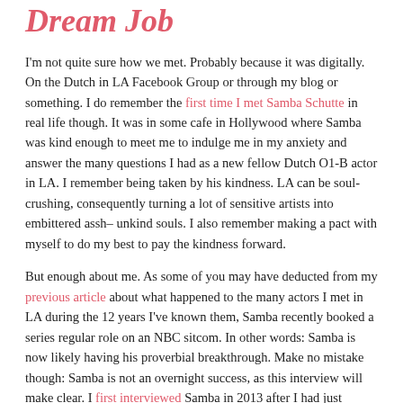Dream Job
I'm not quite sure how we met. Probably because it was digitally. On the Dutch in LA Facebook Group or through my blog or something. I do remember the first time I met Samba Schutte in real life though. It was in some cafe in Hollywood where Samba was kind enough to meet me to indulge me in my anxiety and answer the many questions I had as a new fellow Dutch O1-B actor in LA. I remember being taken by his kindness. LA can be soul-crushing, consequently turning a lot of sensitive artists into embittered assh– unkind souls. I also remember making a pact with myself to do my best to pay the kindness forward.
But enough about me. As some of you may have deducted from my previous article about what happened to the many actors I met in LA during the 12 years I've known them, Samba recently booked a series regular role on an NBC sitcom. In other words: Samba is now likely having his proverbial breakthrough. Make no mistake though: Samba is not an overnight success, as this interview will make clear. I first interviewed Samba in 2013 after I had just moved to LA. We were both struggling actors and though I quickly switched to writing, I always kept following Samba. I ran into him at workshops, Dutch in LA events, attended some of his